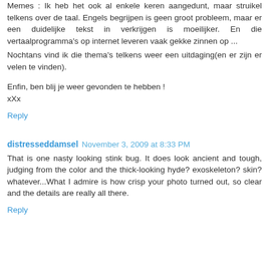Memes : Ik heb het ook al enkele keren aangedunt, maar struikel telkens over de taal. Engels begrijpen is geen groot probleem, maar er een duidelijke tekst in verkrijgen is moeilijker. En die vertaalprogramma's op internet leveren vaak gekke zinnen op ...
Nochtans vind ik die thema's telkens weer een uitdaging(en er zijn er velen te vinden).

Enfin, ben blij je weer gevonden te hebben !
xXx
Reply
distresseddamsel  November 3, 2009 at 8:33 PM
That is one nasty looking stink bug. It does look ancient and tough, judging from the color and the thick-looking hyde? exoskeleton? skin? whatever...What I admire is how crisp your photo turned out, so clear and the details are really all there.
Reply